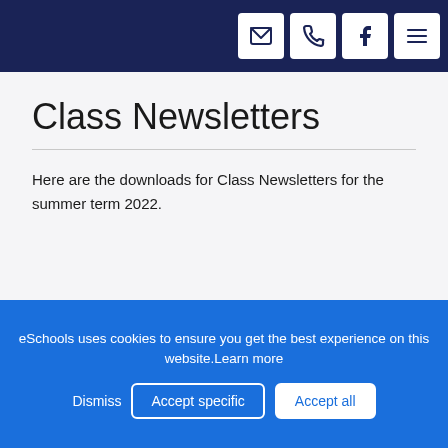Navigation bar with icons: email, phone, facebook, menu
Class Newsletters
Here are the downloads for Class Newsletters for the summer term 2022.
[Figure (other): Document card showing PDF icon and text 'Swans Class Letter Summer Term 2022' on dark navy background]
eSchools uses cookies to ensure you get the best experience on this website.Learn more
Dismiss  Accept specific  Accept all